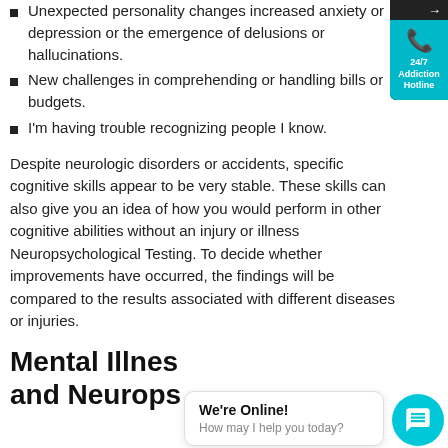Unexpected personality changes increased anxiety or depression or the emergence of delusions or hallucinations.
New challenges in comprehending or handling bills or budgets.
I'm having trouble recognizing people I know.
Despite neurologic disorders or accidents, specific cognitive skills appear to be very stable. These skills can also give you an idea of how you would perform in other cognitive abilities without an injury or illness Neuropsychological Testing. To decide whether improvements have occurred, the findings will be compared to the results associated with different diseases or injuries.
Mental Illness and Neurops
[Figure (infographic): 24/7 Addiction Hotline widget with phone icon on teal/cyan background, black top bar with arrow]
[Figure (infographic): Chat widget with 'We're Online! How may I help you today?' bubble and teal circular chat icon]